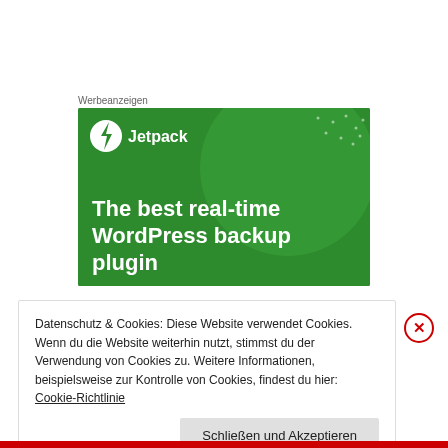Werbeanzeigen
[Figure (advertisement): Jetpack advertisement banner with green background showing lightning bolt logo, 'Jetpack' text, and headline 'The best real-time WordPress backup plugin']
Datenschutz & Cookies: Diese Website verwendet Cookies. Wenn du die Website weiterhin nutzt, stimmst du der Verwendung von Cookies zu. Weitere Informationen, beispielsweise zur Kontrolle von Cookies, findest du hier: Cookie-Richtlinie
Schließen und Akzeptieren